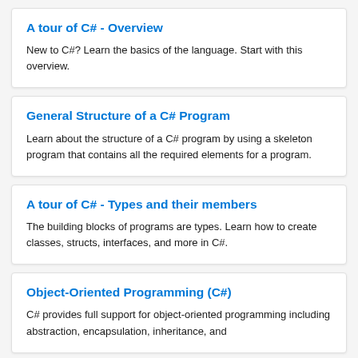A tour of C# - Overview
New to C#? Learn the basics of the language. Start with this overview.
General Structure of a C# Program
Learn about the structure of a C# program by using a skeleton program that contains all the required elements for a program.
A tour of C# - Types and their members
The building blocks of programs are types. Learn how to create classes, structs, interfaces, and more in C#.
Object-Oriented Programming (C#)
C# provides full support for object-oriented programming including abstraction, encapsulation, inheritance, and polymorphism.